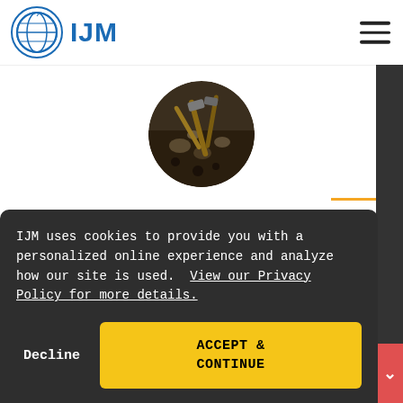[Figure (logo): IJM logo with globe icon in blue circle and 'IJM' text in blue]
[Figure (photo): Circular photo showing tools/rocks, possibly mining or labor context]
IJM uses cookies to provide you with a personalized online experience and analyze how our site is used.  View our Privacy Policy for more details.
Decline
ACCEPT & CONTINUE